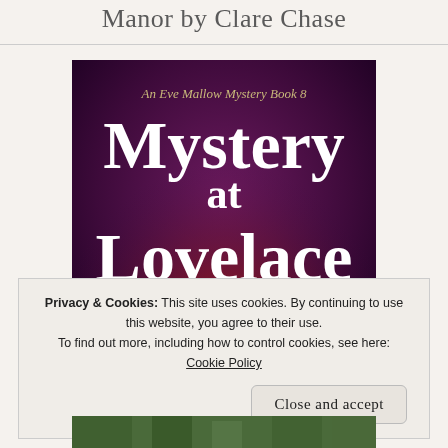Manor by Clare Chase
[Figure (illustration): Book cover for 'Mystery at Lovelace Manor' by Clare Chase. An Eve Mallow Mystery Book 8. Dark purple and red background with large white serif text reading 'Mystery at Lovelace Manor'.]
Privacy & Cookies: This site uses cookies. By continuing to use this website, you agree to their use. To find out more, including how to control cookies, see here: Cookie Policy
Close and accept